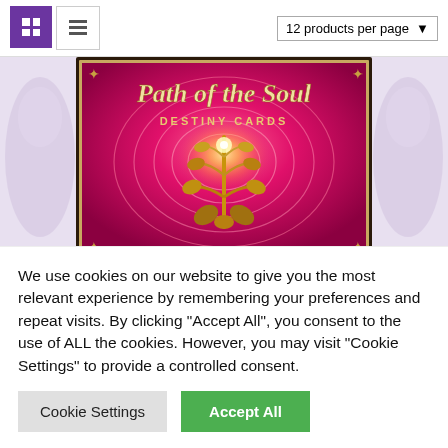[Figure (screenshot): Website product listing toolbar with grid/list view toggle buttons and a '12 products per page' dropdown selector]
[Figure (photo): Book/card deck cover: 'Path of the Soul Destiny Cards' with a pink/magenta background and a golden fractal tree-like mandala design]
We use cookies on our website to give you the most relevant experience by remembering your preferences and repeat visits. By clicking “Accept All”, you consent to the use of ALL the cookies. However, you may visit “Cookie Settings” to provide a controlled consent.
Cookie Settings
Accept All